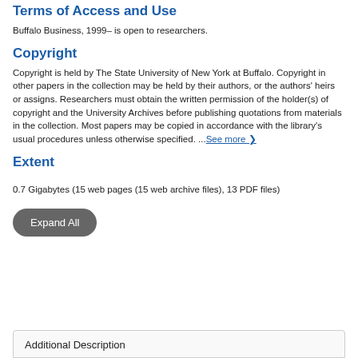Terms of Access and Use
Buffalo Business, 1999– is open to researchers.
Copyright
Copyright is held by The State University of New York at Buffalo. Copyright in other papers in the collection may be held by their authors, or the authors' heirs or assigns. Researchers must obtain the written permission of the holder(s) of copyright and the University Archives before publishing quotations from materials in the collection. Most papers may be copied in accordance with the library's usual procedures unless otherwise specified. ...See more ❯
Extent
0.7 Gigabytes (15 web pages (15 web archive files), 13 PDF files)
Expand All
Additional Description